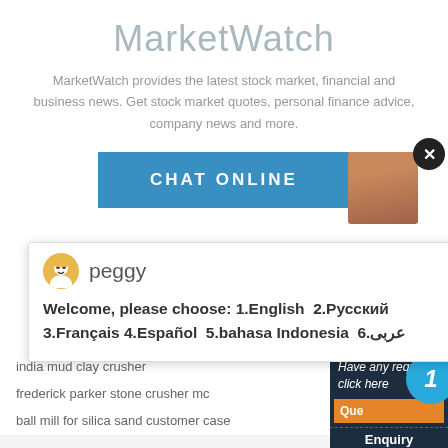MarketWatch
MarketWatch provides the latest stock market, financial and business news. Get stock market quotes, personal finance advice, company news and more.
[Figure (screenshot): Blue CHAT ONLINE button with partial avatar image of a person on the right, and a black X close button]
[Figure (screenshot): Chat popup with avatar icon labeled 'peggy' and multilingual greeting: Welcome, please choose: 1.English 2.Русский 3.Français 4.Español 5.bahasa Indonesia 6.عربى]
india mud clay crusher
frederick parker stone crusher mc
ball mill for silica sand customer case
stone jaw crusher crusher price
race coal mill gas
stone crusher in united arab emirates
vibrating screen calculate
Have any requests, click here
Que...
Enquiry
limingjlmofen@sina.com